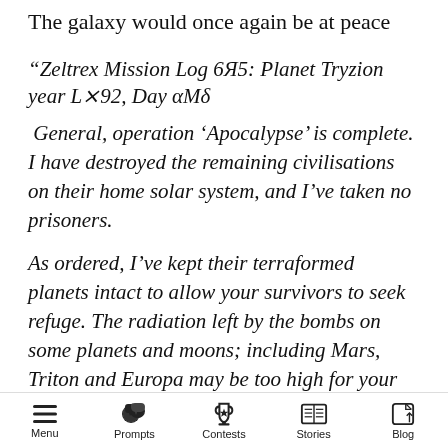The galaxy would once again be at peace
“Zeltrex Mission Log 6Я5: Planet Tryzion year L×92, Day αMδ
General, operation ‘Apocalypse’ is complete. I have destroyed the remaining civilisations on their home solar system, and I’ve taken no prisoners.
As ordered, I’ve kept their terraformed planets intact to allow your survivors to seek refuge. The radiation left by the bombs on some planets and moons; including Mars, Triton and Europa may be too high for your people to safely settle. But could
Menu  Prompts  Contests  Stories  Blog